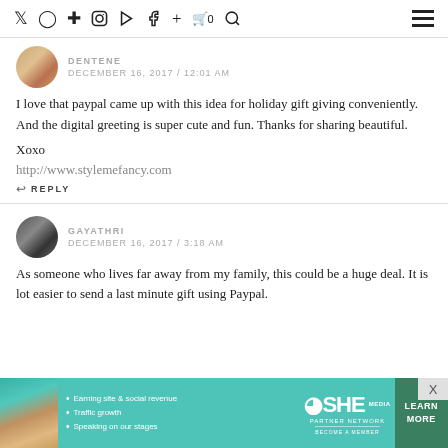Navigation icons: Twitter, Instagram, Pinterest, YouTube, Facebook, Plus, Cart (0), Search, Menu
DENTENE
DECEMBER 16, 2017 / 12:01 AM
I love that paypal came up with this idea for holiday gift giving conveniently. And the digital greeting is super cute and fun. Thanks for sharing beautiful.

Xoxo
http://www.stylemefancy.com
↩ REPLY
GAYATHRI
DECEMBER 16, 2017 / 3:18 AM
As someone who lives far away from my family, this could be a huge deal. It is lot easier to send a last minute gift using Paypal.
[Figure (infographic): SHE Partner Network advertisement banner with teal background, woman photo, bullet points: Earning site & social revenue, Traffic growth, Speaking on our stages, SHE logo, PARTNER NETWORK, BECOME A MEMBER, LEARN MORE button]